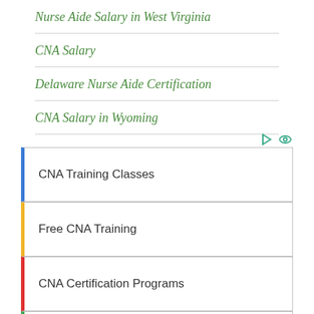Nurse Aide Salary in West Virginia
CNA Salary
Delaware Nurse Aide Certification
CNA Salary in Wyoming
CNA Training Classes
Free CNA Training
CNA Certification Programs